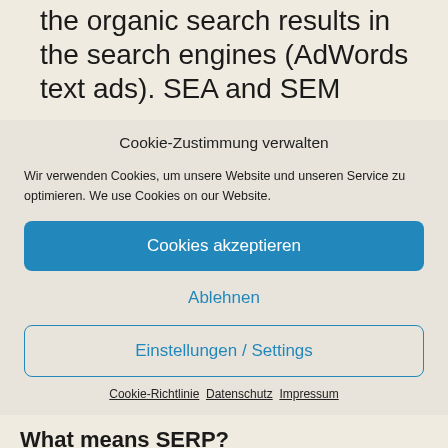the organic search results in the search engines (AdWords text ads). SEA and SEM
Cookie-Zustimmung verwalten
Wir verwenden Cookies, um unsere Website und unseren Service zu optimieren. We use Cookies on our Website.
Cookies akzeptieren
Ablehnen
Einstellungen / Settings
Cookie-Richtlinie  Datenschutz  Impressum
What means SERP?
SERP is the abbreviation for Search Engine...